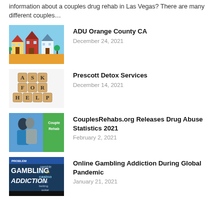information about a couples drug rehab in Las Vegas? There are many different couples…
[Figure (illustration): Illustrated suburban houses with colorful roofs against a blue sky with orange ground]
ADU Orange County CA
December 24, 2021
[Figure (photo): Scrabble tiles arranged to spell ASK FOR HELP on a light background]
Prescott Detox Services
December 14, 2021
[Figure (photo): A couple embracing with a green panel beside them showing Couple Rehab text]
CouplesRehabs.org Releases Drug Abuse Statistics 2021
February 2, 2021
[Figure (illustration): Dark blue background with GAMBLING ADDICTION text and word cloud including casino, poker, betting, risk, playing, gamble]
Online Gambling Addiction During Global Pandemic
January 21, 2021